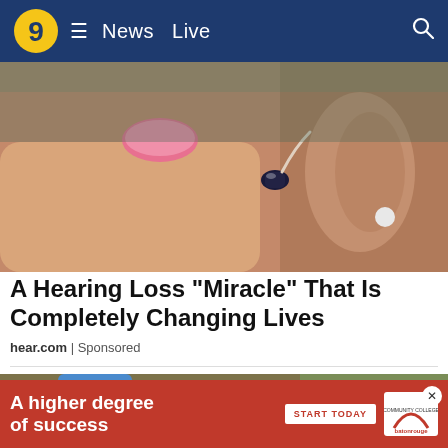9 ≡ News Live 🔍
[Figure (photo): Close-up of a person inserting a small hearing aid into their ear. Pink manicured fingernails visible, ear stud earring in background.]
A Hearing Loss "Miracle" That Is Completely Changing Lives
hear.com | Sponsored
[Figure (photo): Close-up of a person's wrist wearing a blue Apple Watch showing analog watch face with time 22, heart rate 86, and a small hearing aid nearby.]
[Figure (other): Advertisement banner: A higher degree of success. START TODAY. Baton Rouge Community College logo. Close button (X) at right.]